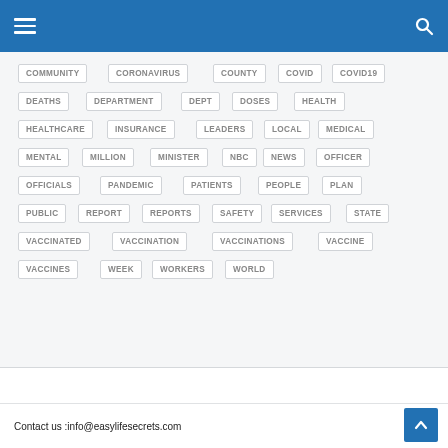Navigation header with hamburger menu and search icon
COMMUNITY
CORONAVIRUS
COUNTY
COVID
COVID19
DEATHS
DEPARTMENT
DEPT
DOSES
HEALTH
HEALTHCARE
INSURANCE
LEADERS
LOCAL
MEDICAL
MENTAL
MILLION
MINISTER
NBC
NEWS
OFFICER
OFFICIALS
PANDEMIC
PATIENTS
PEOPLE
PLAN
PUBLIC
REPORT
REPORTS
SAFETY
SERVICES
STATE
VACCINATED
VACCINATION
VACCINATIONS
VACCINE
VACCINES
WEEK
WORKERS
WORLD
Contact us :info@easylifesecrets.com